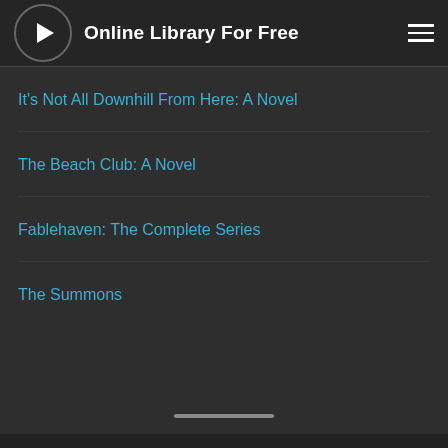Online Library For Free
It's Not All Downhill From Here: A Novel
The Beach Club: A Novel
Fablehaven: The Complete Series
The Summons